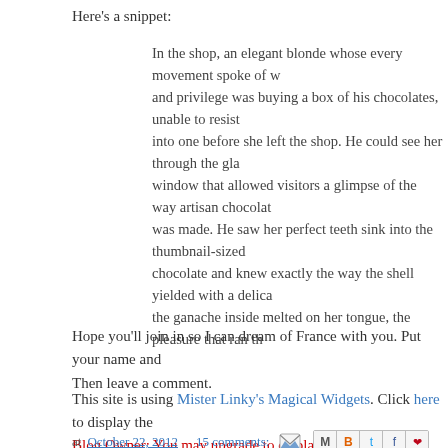Here's a snippet:
In the shop, an elegant blonde whose every movement spoke of w… and privilege was buying a box of his chocolates, unable to resist… into one before she left the shop. He could see her through the gla… window that allowed visitors a glimpse of the way artisan chocolat… was made. He saw her perfect teeth sink into the thumbnail-sized… chocolate and knew exactly the way the shell yielded with a delica… the ganache inside melted on her tongue, the pleasure that ran th…
Hope you'll join in so I can dream of France with you. Put your name and… Then leave a comment.
This site is using Mister Linky's Magical Widgets. Click here to display the… Blog Owner: You may upgrade to display more than one Linky at a time.
at October 22, 2012   15 comments:
Labels: chocolate, Dreaming of France meme, France, Laura Florand, no… Thief
Sunday, October 21, 2012
Near Nature Mishap